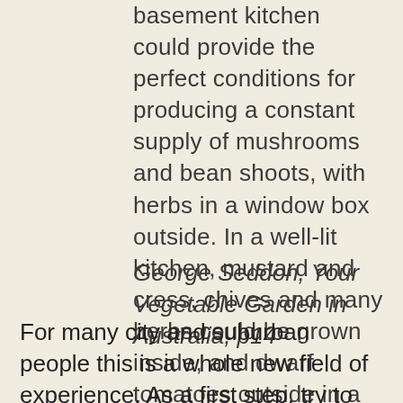basement kitchen could provide the perfect conditions for producing a constant supply of mushrooms and bean shoots, with herbs in a window box outside. In a well-lit kitchen, mustard and cress, chives and many herbs could be grown inside, and dwarf tomatoes outside in a window box.
George Seddon, Your Vegetable Garden in Australia, p14
For many city and suburban people this is a whole new field of experience. As a first step, try to develop a feeling of becoming comfortable, familiar, and friendly with the